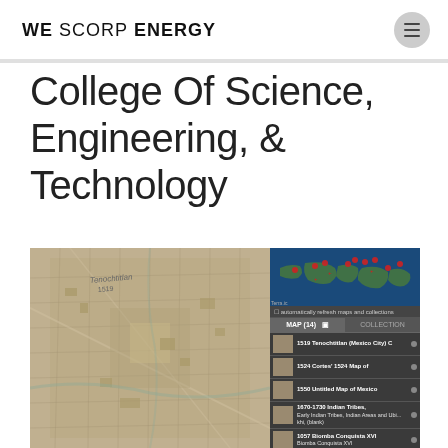WE SCORP ENERGY
College Of Science, Engineering, & Technology
[Figure (screenshot): Screenshot of a digital map application showing an aerial/satellite view of Tenochtitlan (Mexico City) on the left and a map collection browser UI on the right with entries: 1519 Tenochtitlan (Mexico City), 1524 Cortes' 1524 Map of, 1550 Untitled Map of Mexico, 1670-1730 Indian Tribes, 1057 Biomba Conquista XVI, 1780 Map of Mexico (City)]